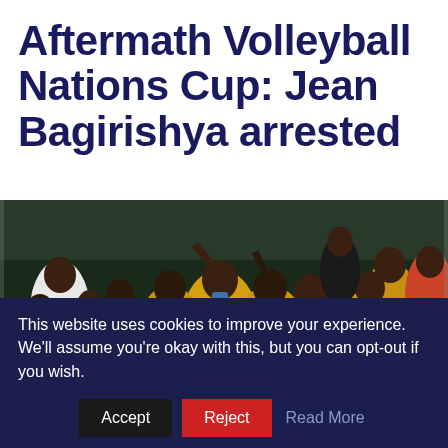Aftermath Volleyball Nations Cup: Jean Bagirishya arrested
[Figure (photo): A crowd of people in yellow jerseys and various clothing cheering at what appears to be a sports event venue, some wearing face masks.]
This website uses cookies to improve your experience. We'll assume you're okay with this, but you can opt-out if you wish.
Accept | Reject | Read More